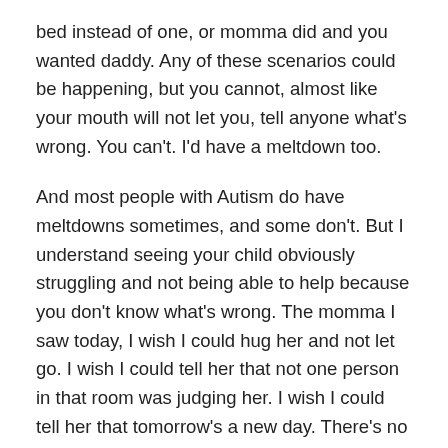bed instead of one, or momma did and you wanted daddy. Any of these scenarios could be happening, but you cannot, almost like your mouth will not let you, tell anyone what's wrong. You can't. I'd have a meltdown too.
And most people with Autism do have meltdowns sometimes, and some don't. But I understand seeing your child obviously struggling and not being able to help because you don't know what's wrong. The momma I saw today, I wish I could hug her and not let go. I wish I could tell her that not one person in that room was judging her. I wish I could tell her that tomorrow's a new day. There's no telling how she felt once she was in her car. Maybe it didn't phase her or bother her at all, but maybe it tore her apart driving to another therapy